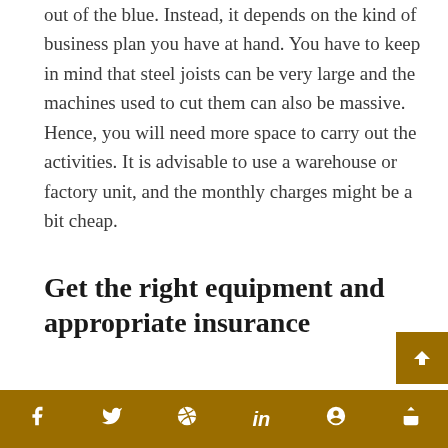out of the blue. Instead, it depends on the kind of business plan you have at hand. You have to keep in mind that steel joists can be very large and the machines used to cut them can also be massive. Hence, you will need more space to carry out the activities. It is advisable to use a warehouse or factory unit, and the monthly charges might be a bit cheap.
Get the right equipment and appropriate insurance
There are many places where you can buy your stuff, but it is vital to purchase quality tools. You can always research online and go through review